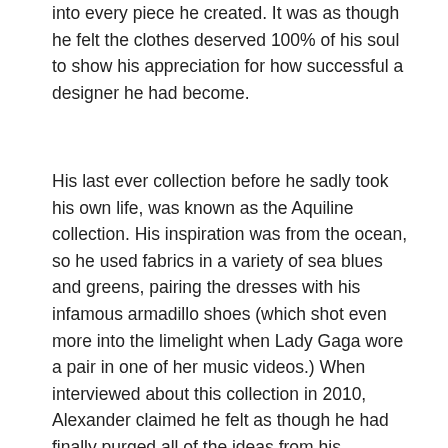into every piece he created. It was as though he felt the clothes deserved 100% of his soul to show his appreciation for how successful a designer he had become.
His last ever collection before he sadly took his own life, was known as the Aquiline collection. His inspiration was from the ocean, so he used fabrics in a variety of sea blues and greens, pairing the dresses with his infamous armadillo shoes (which shot even more into the limelight when Lady Gaga wore a pair in one of her music videos.) When interviewed about this collection in 2010, Alexander claimed he felt as though he had finally purged all of the ideas from his imagination and they